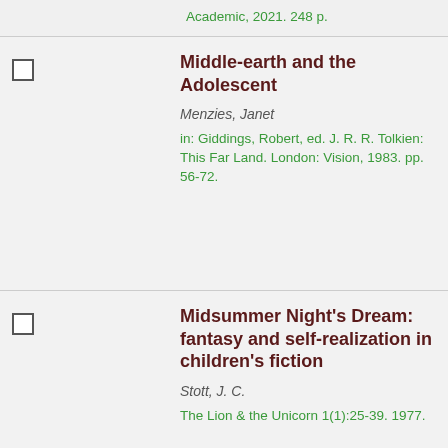Academic, 2021. 248 p.
Middle-earth and the Adolescent — Menzies, Janet — in: Giddings, Robert, ed. J. R. R. Tolkien: This Far Land. London: Vision, 1983. pp. 56-72.
Midsummer Night's Dream: fantasy and self-realization in children's fiction — Stott, J. C. — The Lion & the Unicorn 1(1):25-39. 1977.